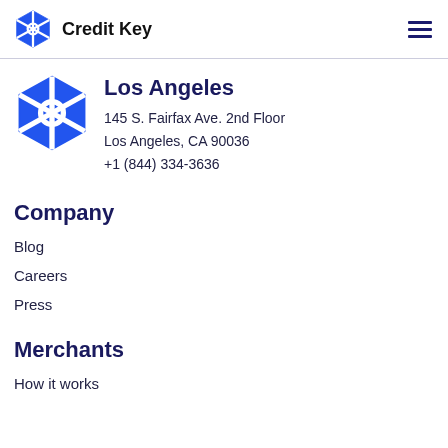Credit Key
Los Angeles
145 S. Fairfax Ave. 2nd Floor
Los Angeles, CA 90036
+1 (844) 334-3636
Company
Blog
Careers
Press
Merchants
How it works